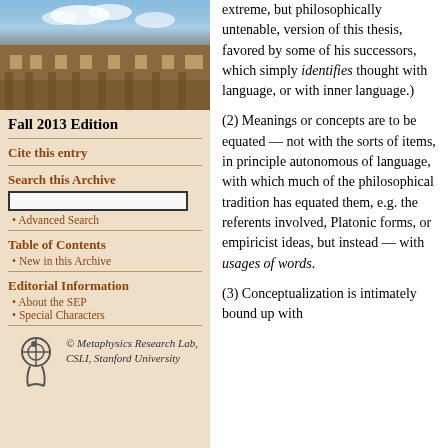[Figure (photo): Photograph of a university building (stone Gothic architecture) with blue sky and clouds]
Fall 2013 Edition
Cite this entry
Search this Archive
Advanced Search
Table of Contents
New in this Archive
Editorial Information
About the SEP
Special Characters
© Metaphysics Research Lab, CSLI, Stanford University
extreme, but philosophically untenable, version of this thesis, favored by some of his successors, which simply identifies thought with language, or with inner language.)
(2) Meanings or concepts are to be equated — not with the sorts of items, in principle autonomous of language, with which much of the philosophical tradition has equated them, e.g. the referents involved, Platonic forms, or empiricist ideas, but instead — with usages of words.
(3) Conceptualization is intimately bound up with